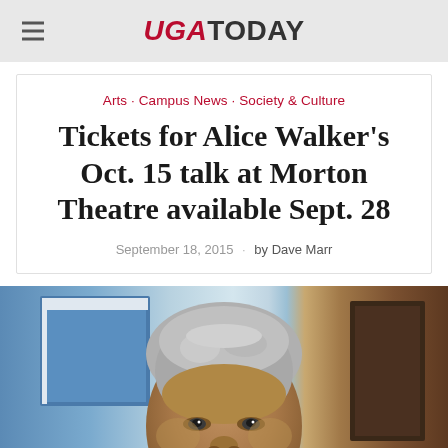UGA TODAY
Arts · Campus News · Society & Culture
Tickets for Alice Walker's Oct. 15 talk at Morton Theatre available Sept. 28
September 18, 2015 · by Dave Marr
[Figure (photo): Close-up portrait photograph of Alice Walker, showing her face and gray natural hair, with a blue-toned background and artwork visible behind her.]